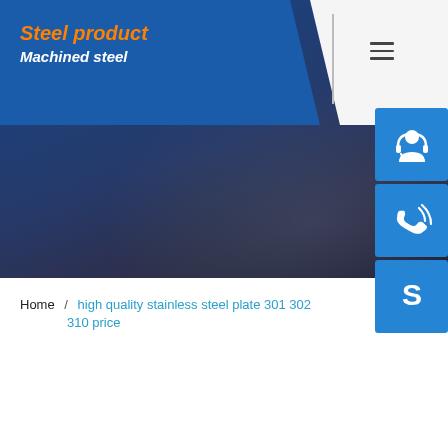Steel product / Machined steel
high quality stainless steel plate 301 302 310 price
Home / high quality stainless steel plate 301 302 310 price